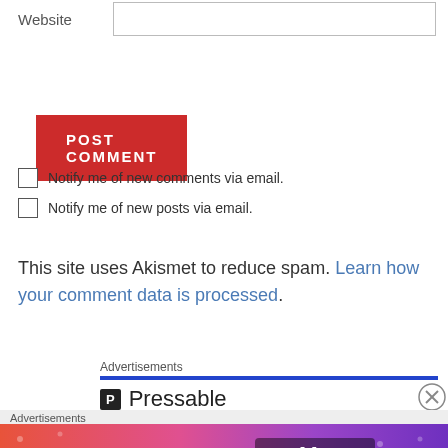Website
POST COMMENT
Notify me of new comments via email.
Notify me of new posts via email.
This site uses Akismet to reduce spam. Learn how your comment data is processed.
Advertisements
[Figure (logo): Pressable logo with blue underline bar]
Advertisements
[Figure (illustration): Fandom on Tumblr colorful banner advertisement with orange to purple gradient background]